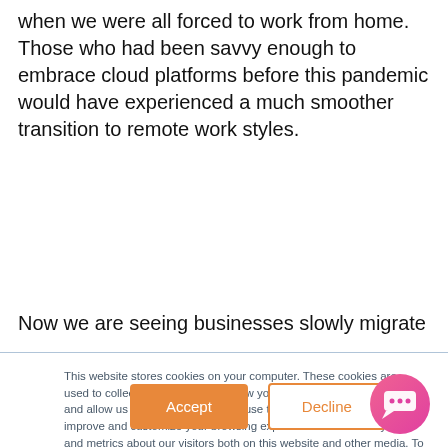when we were all forced to work from home. Those who had been savvy enough to embrace cloud platforms before this pandemic would have experienced a much smoother transition to remote work styles.
Now we are seeing businesses slowly migrate
This website stores cookies on your computer. These cookies are used to collect information about how you interact with our website and allow us to remember you. We use this information in order to improve and customize your browsing experience and for analytics and metrics about our visitors both on this website and other media. To find out more about the cookies we use, see our Privacy Notice.
If you decline, your information won't be tracked when you visit this website. A single cookie will be used in your browser to remember your preference not to be tracked.